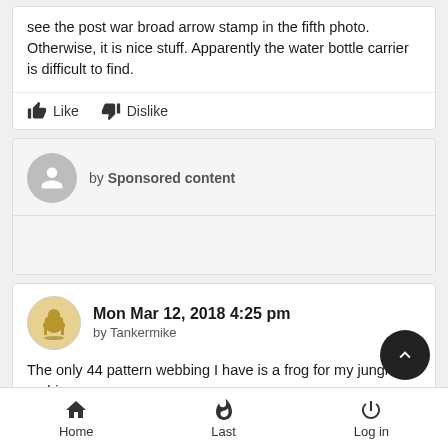see the post war broad arrow stamp in the fifth photo. Otherwise, it is nice stuff. Apparently the water bottle carrier is difficult to find.
Like  Dislike
by Sponsored content
Mon Mar 12, 2018 4:25 pm
by Tankermike
The only 44 pattern webbing I have is a frog for my jungle carbine.
Home  Last  Log in